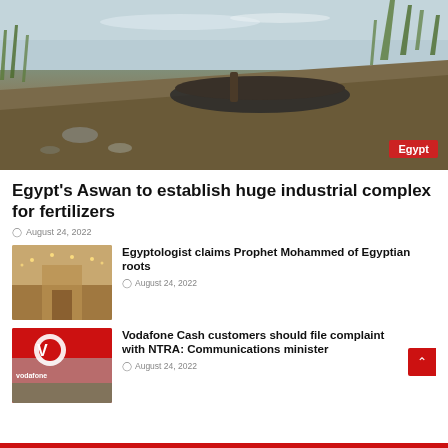[Figure (photo): A boat resting on a dry riverbank with grass, grey sky and water in the background. Egypt badge in bottom right corner.]
Egypt's Aswan to establish huge industrial complex for fertilizers
August 24, 2022
[Figure (photo): Interior of a building with warm lighting and chandeliers, lobby-style room.]
Egyptologist claims Prophet Mohammed of Egyptian roots
August 24, 2022
[Figure (photo): Vodafone store exterior with red Vodafone branding and logo.]
Vodafone Cash customers should file complaint with NTRA: Communications minister
August 24, 2022